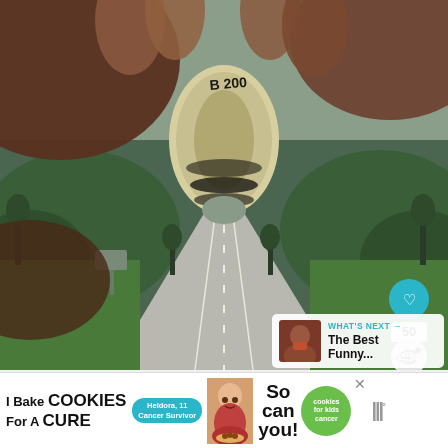[Figure (photo): Composite photo: close-up of a hand holding a rolled-up US $100 dollar bill like a telescope or tube, with a long straight road stretching into the distance visible through the tube opening. Green fields and trees line the road under an overcast sky. A small car is visible far down the road.]
[Figure (infographic): UI overlay: teal heart/like button, number '50' badge, share button with circular arrows and plus sign]
[Figure (infographic): What's Next panel: thumbnail of a bearded man, label 'WHAT'S NEXT →', text 'The Best Funny...']
[Figure (infographic): Advertisement banner: 'I Bake COOKIES For A CURE' with Haldora badge, photo of child, 'So can you!' text, green Cookies for Kids Cancer logo circle, close X button, and sponsor logo]